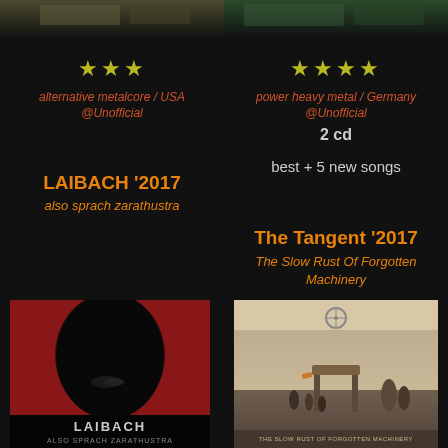[Figure (photo): Top strip of album art for left column entry]
[Figure (photo): Top strip of album art for right column entry]
★★★
alternative metalcore / USA
@Unofficial
★★★★
power heavy metal / Germany
@Unofficial
2 cd
best + 5 new songs
LAIBACH '2017
also sprach zarathustra
The Tangent '2017
The Slow Rust Of Forgotten Machinery
[Figure (photo): Laibach 'Also Sprach Zarathustra' album cover: dark silhouette figure on red background with LAIBACH text at bottom]
[Figure (photo): The Tangent 'The Slow Rust Of Forgotten Machinery' album cover: people walking in a barren landscape with large machinery]